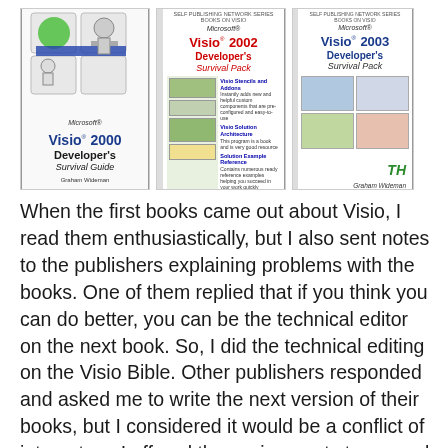[Figure (illustration): Three book covers side by side: 'Visio 2000 Developer's Survival Guide', 'Microsoft Visio 2002 Developer's Survival Pack', and 'Microsoft Visio 2003 Developer's Survival Pack', all by Graham Wideman.]
When the first books came out about Visio, I read them enthusiastically, but I also sent notes to the publishers explaining problems with the books. One of them replied that if you think you can do better, you can be the technical editor on the next book. So, I did the technical editing on the Visio Bible. Other publishers responded and asked me to write the next version of their books, but I considered it would be a conflict of interest, so I offered the assignments to several Visio people I knew, with the